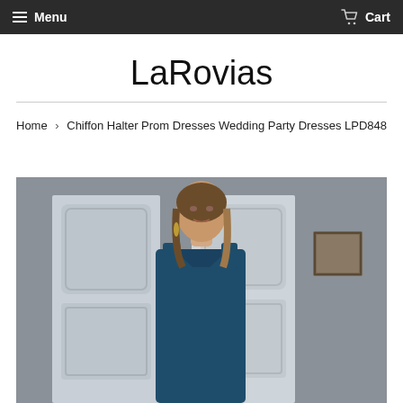Menu  Cart
LaRovias
Home › Chiffon Halter Prom Dresses Wedding Party Dresses LPD848
[Figure (photo): Model wearing a dark teal/navy chiffon halter prom dress, standing in front of white paneled doors in a room setting.]